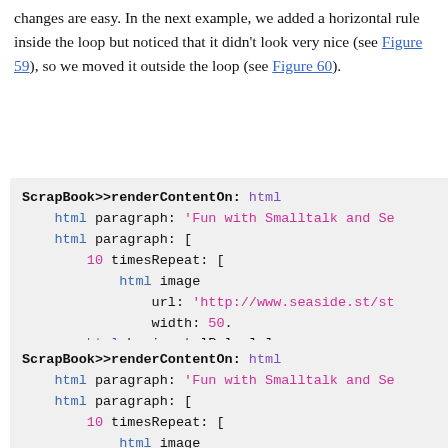changes are easy. In the next example, we added a horizontal rule inside the loop but noticed that it didn't look very nice (see Figure 59), so we moved it outside the loop (see Figure 60).
[Figure (screenshot): Code block showing ScrapBook>>renderContentOn: html with html paragraph containing 'Fun with Smalltalk and Se...', html paragraph: [ 10 timesRepeat: [ html image url: 'http://www.seaside.st/st... width: 50. html horizontalRule ] ]]
[Figure (screenshot): Code block showing ScrapBook>>renderContentOn: html with html paragraph: 'Fun with Smalltalk and Se...', html paragraph: [ 10 timesRepeat: [ html image ...]